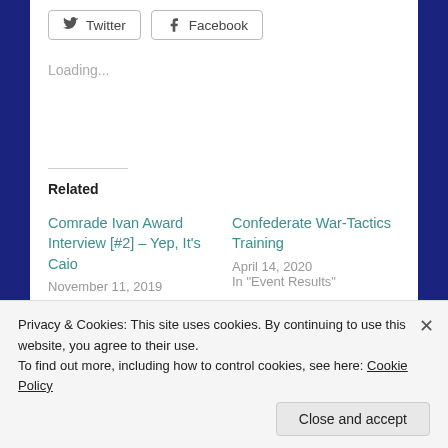[Figure (screenshot): Social share buttons: Twitter and Facebook]
Loading...
Related
Comrade Ivan Award Interview [#2] – Yep, It's Caio
November 11, 2019
Confederate War-Tactics Training
April 14, 2020
In "Event Results"
Privacy & Cookies: This site uses cookies. By continuing to use this website, you agree to their use.
To find out more, including how to control cookies, see here: Cookie Policy
Close and accept